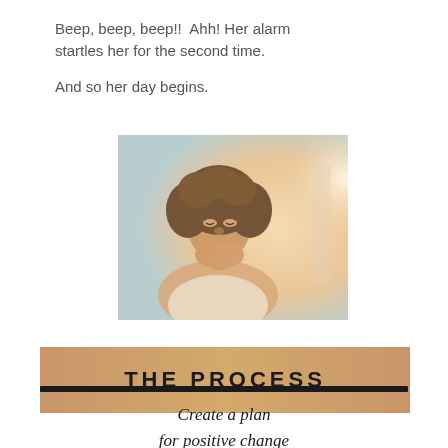Beep, beep, beep!!  Ahh! Her alarm startles her for the second time.

And so her day begins.
[Figure (photo): A woman with curly hair sitting with her hands clasped together near her face, eyes closed, in a contemplative or stressed pose, with warm backlighting.]
THE PROCESS
Create a plan for positive change